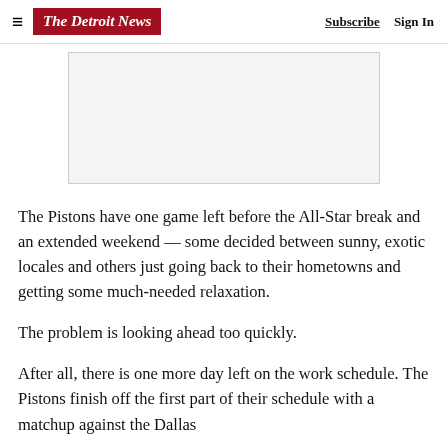The Detroit News — Subscribe  Sign In
[Figure (other): Advertisement placeholder rectangle with light gray background]
The Pistons have one game left before the All-Star break and an extended weekend — some decided between sunny, exotic locales and others just going back to their hometowns and getting some much-needed relaxation.
The problem is looking ahead too quickly.
After all, there is one more day left on the work schedule. The Pistons finish off the first part of their schedule with a matchup against the Dallas